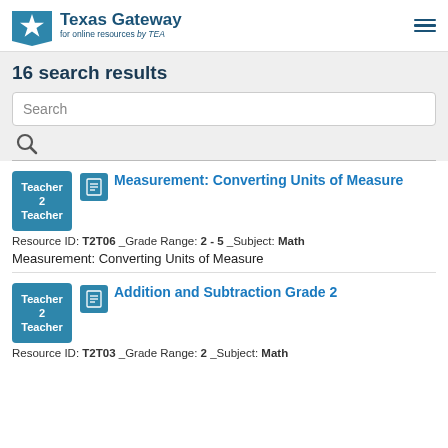Texas Gateway for online resources by TEA
16 search results
[Figure (screenshot): Search input box with placeholder text 'Search' and a magnifying glass icon below]
[Figure (logo): Teacher 2 Teacher badge icon (blue square)]
[Figure (other): Document icon (blue square with lines)]
Measurement: Converting Units of Measure
Resource ID: T2T06  _Grade Range: 2 - 5  _Subject: Math
Measurement: Converting Units of Measure
[Figure (logo): Teacher 2 Teacher badge icon (blue square)]
[Figure (other): Document icon (blue square with lines)]
Addition and Subtraction Grade 2
Resource ID: T2T03  _Grade Range: 2  _Subject: Math